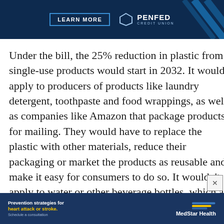[Figure (other): PenFed Credit Union advertisement banner with dark navy background, 'LEARN MORE' button, PenFed pentagon logo, and blue diagonal lines on the right.]
Under the bill, the 25% reduction in plastic from single-use products would start in 2032. It would apply to producers of products like laundry detergent, toothpaste and food wrappings, as well as companies like Amazon that package products for mailing. They would have to replace the plastic with other materials, reduce their packaging or market the products as reusable and make it easy for consumers to do so. It wouldn't apply to water or other beverage bottles, which are regulated by different recycling laws.
[Figure (other): MedStar Health advertisement banner with dark blue background, text 'Prevention strategies for heart attack or stroke. Schedule a consultation' with MedStar Health logo.]